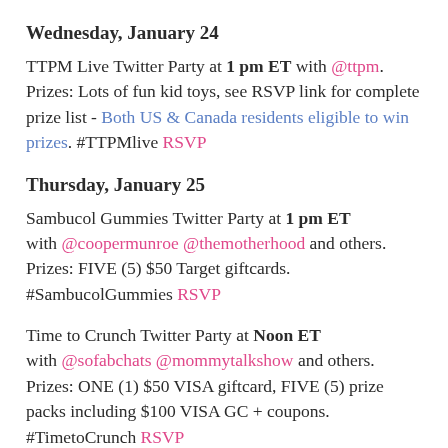Wednesday, January 24
TTPM Live Twitter Party at 1 pm ET with @ttpm. Prizes: Lots of fun kid toys, see RSVP link for complete prize list - Both US & Canada residents eligible to win prizes. #TTPMlive RSVP
Thursday, January 25
Sambucol Gummies Twitter Party at 1 pm ET with @coopermunroe @themotherhood and others. Prizes: FIVE (5) $50 Target giftcards. #SambucolGummies RSVP
Time to Crunch Twitter Party at Noon ET with @sofabchats @mommytalkshow and others. Prizes: ONE (1) $50 VISA giftcard, FIVE (5) prize packs including $100 VISA GC + coupons. #TimetoCrunch RSVP
Saturday, January 27
Read Your World Twitter Party at 9 pm ET with @MCchildsbookday. Prizes: Book bundles every 6